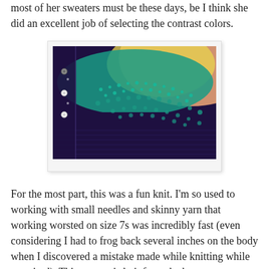most of her sweaters must be these days, be I think she did an excellent job of selecting the contrast colors.
[Figure (photo): Close-up photo of a knitted sweater yoke in dark navy/purple with teal/turquoise and yellow colorwork pattern at the shoulders, with buttons visible along a placket.]
For the most part, this was a fun knit. I'm so used to working with small needles and skinny yarn that working worsted on size 7s was incredibly fast (even considering I had to frog back several inches on the body when I discovered a mistake made while knitting while overtired). This pattern is knit from the bottom up, starting with the body, which is knit flat. The sleeves are knit in the round up to the underarm, and then the sleeves and body are joined on one needle to work the yoke. The yoke is where I made my one major